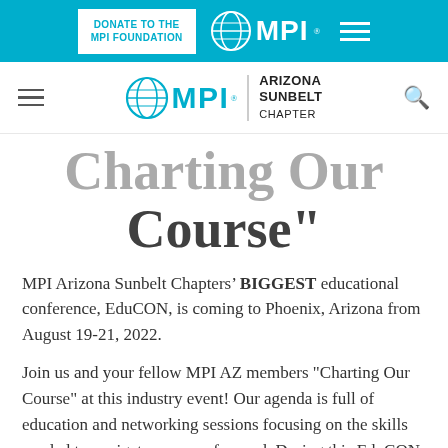DONATE TO THE MPI FOUNDATION | MPI [logo] | [hamburger menu]
[Figure (logo): MPI Arizona Sunbelt Chapter logo with globe icon, MPI text, vertical divider, and ARIZONA SUNBELT CHAPTER text]
Charting Our Course"
MPI Arizona Sunbelt Chapters’ BIGGEST educational conference, EduCON, is coming to Phoenix, Arizona from August 19-21, 2022.
Join us and your fellow MPI AZ members "Charting Our Course" at this industry event! Our agenda is full of education and networking sessions focusing on the skills needed to navigate our way forward. During this EduCON, learn about contract negotiations, labor and supply chain challenges and rising costs, protecting